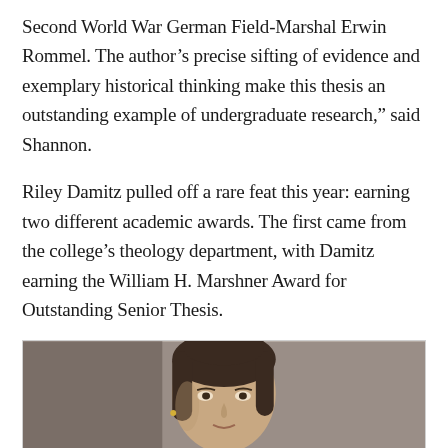Second World War German Field-Marshal Erwin Rommel. The author’s precise sifting of evidence and exemplary historical thinking make this thesis an outstanding example of undergraduate research,” said Shannon.
Riley Damitz pulled off a rare feat this year: earning two different academic awards. The first came from the college’s theology department, with Damitz earning the William H. Marshner Award for Outstanding Senior Thesis.
[Figure (photo): Portrait photo of a young woman with dark hair pulled up, wearing a light-colored top, in front of a gray background.]